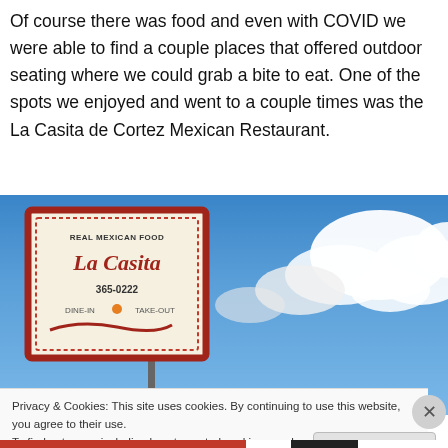Of course there was food and even with COVID we were able to find a couple places that offered outdoor seating where we could grab a bite to eat. One of the spots we enjoyed and went to a couple times was the La Casita de Cortez Mexican Restaurant.
[Figure (photo): Outdoor sign for La Casita Mexican Restaurant against a blue sky with clouds. Sign reads 'Real Mexican Food, La Casita, 365-0222, Dine In, Take Out'.]
Privacy & Cookies: This site uses cookies. By continuing to use this website, you agree to their use.
To find out more, including how to control cookies, see here: Cookie Policy